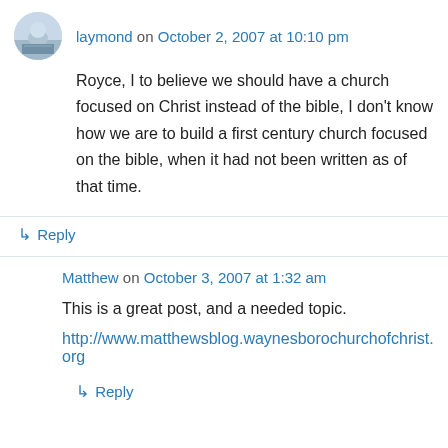laymond on October 2, 2007 at 10:10 pm
Royce, I to believe we should have a church focused on Christ instead of the bible, I don't know how we are to build a first century church focused on the bible, when it had not been written as of that time.
↳ Reply
Matthew on October 3, 2007 at 1:32 am
This is a great post, and a needed topic.
http://www.matthewsblog.waynesborochurchofchrist.org
↳ Reply